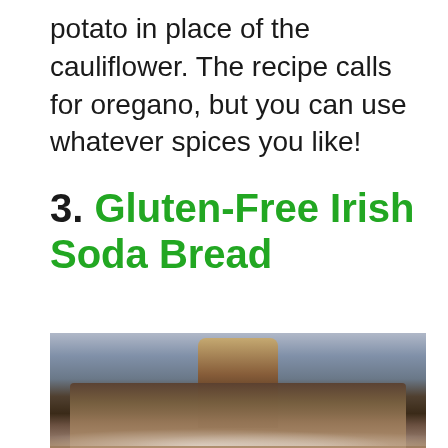potato in place of the cauliflower. The recipe calls for oregano, but you can use whatever spices you like!
3. Gluten-Free Irish Soda Bread
[Figure (photo): Close-up photo of sliced gluten-free Irish soda bread showing the interior crumb texture with raisins/dried fruit, dusted with flour, on a dark surface. A whole loaf is blurred in the background.]